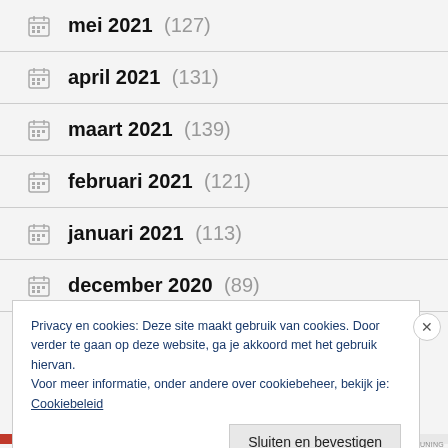mei 2021 (127)
april 2021 (131)
maart 2021 (139)
februari 2021 (121)
januari 2021 (113)
december 2020 (89)
Privacy en cookies: Deze site maakt gebruik van cookies. Door verder te gaan op deze website, ga je akkoord met het gebruik hiervan.
Voor meer informatie, onder andere over cookiebeheer, bekijk je:
Cookiebeleid
Sluiten en bevestigen